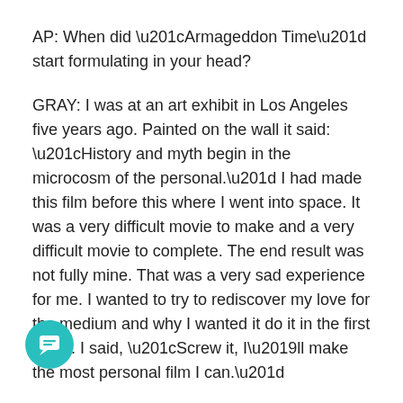AP: When did “Armageddon Time” start formulating in your head?
GRAY: I was at an art exhibit in Los Angeles five years ago. Painted on the wall it said: “History and myth begin in the microcosm of the personal.” I had made this film before this where I went into space. It was a very difficult movie to make and a very difficult movie to complete. The end result was not fully mine. That was a very sad experience for me. I wanted to try to rediscover my love for the medium and why I wanted it do it in the first place. I said, “Screw it, I’ll make the most personal film I can.”
AP: You’ve called 1980 one of the most pivotal years in American history. Is that because of the election of Reagan?
GRAY: People don’t remember that he campaigned in